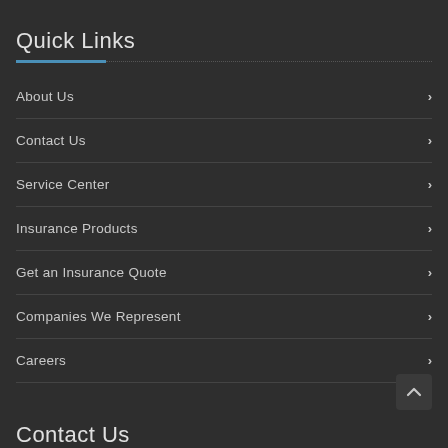Quick Links
About Us
Contact Us
Service Center
Insurance Products
Get an Insurance Quote
Companies We Represent
Careers
Contact Us